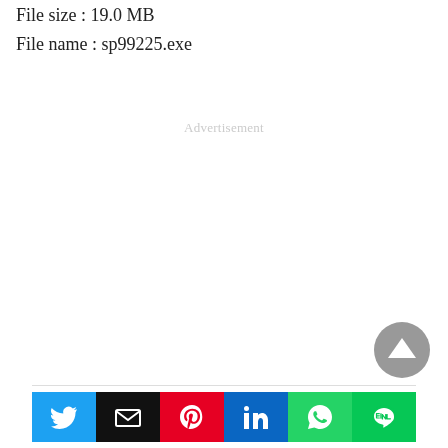File size : 19.0 MB
File name : sp99225.exe
Advertisement
[Figure (other): Scroll-to-top button: a gray circle with an upward-pointing triangle/arrow in white]
[Figure (infographic): Social share bar with six buttons: Twitter (blue), Email (black), Pinterest (red), LinkedIn (blue), WhatsApp (green), LINE (green)]